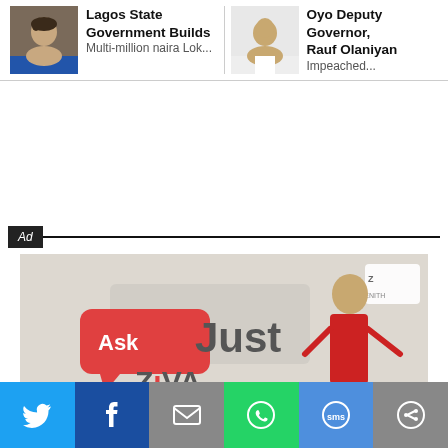Lagos State Government Builds Multi-million naira Lok...
Oyo Deputy Governor, Rauf Olaniyan Impeached...
Ad
[Figure (illustration): Zenith Bank advertisement showing 'Just Ask ZIVA' with a female cartoon character in red business attire pointing to text, and the Zenith Bank logo in the top right corner.]
[Figure (infographic): Bottom social sharing bar with Twitter, Facebook, Email, WhatsApp, SMS, and a share/refresh icon buttons.]